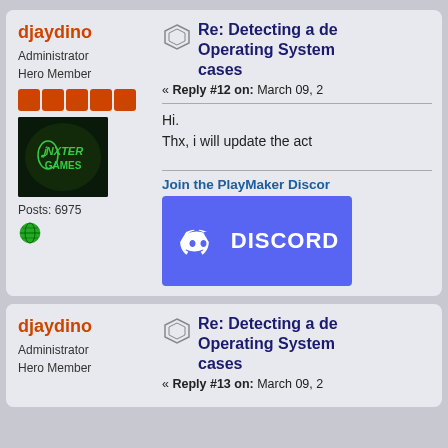djaydino
Administrator
Hero Member
Posts: 6975
Re: Detecting a de Operating System cases
« Reply #12 on: March 09, 2
Hi.
Thx, i will update the act
Join the PlayMaker Discor
[Figure (logo): Discord logo banner with purple background showing Discord icon and DISCORD text]
djaydino
Administrator
Hero Member
Re: Detecting a de Operating System cases
« Reply #13 on: March 09, 2